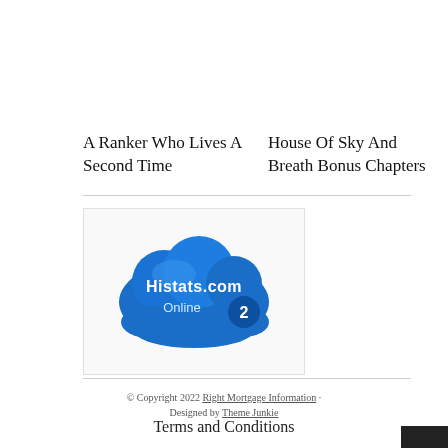A Ranker Who Lives A Second Time
House Of Sky And Breath Bonus Chapters
[Figure (logo): Histats.com Online counter widget showing a blue cloud graphic with 'Histats.com Online 2']
© Copyright 2022 Right Mortgage Information · Designed by Theme Junkie
Terms and Conditions